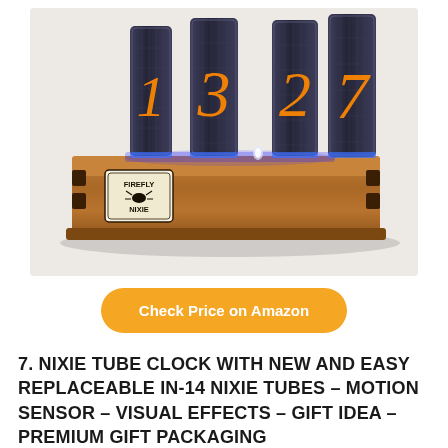[Figure (photo): A Firefly Nixie tube clock sitting on a wooden box base. The clock displays glowing orange nixie tubes showing digits, with blue LED lighting underneath. The wooden base has a 'Firefly Nixie' branded label on the front. The background is light gray/white.]
Check Price on Amazon
7. NIXIE TUBE CLOCK WITH NEW AND EASY REPLACEABLE IN-14 NIXIE TUBES – MOTION SENSOR – VISUAL EFFECTS – GIFT IDEA – PREMIUM GIFT PACKAGING